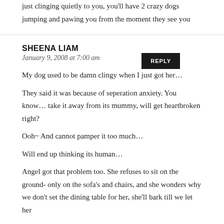just clinging quietly to you, you'll have 2 crazy dogs jumping and pawing you from the moment they see you
REPLY
SHEENA LIAM
January 9, 2008 at 7:00 am
My dog used to be damn clingy when I just got her… They said it was because of seperation anxiety. You know… take it away from its mummy, will get heartbroken right? Ooh~ And cannot pamper it too much… Will end up thinking its human… Angel got that problem too. She refuses to sit on the ground- only on the sofa's and chairs, and she wonders why we don't set the dining table for her, she'll bark till we let her